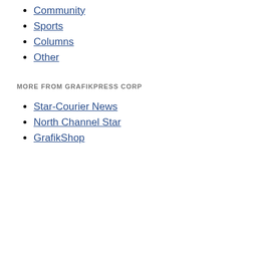Community
Sports
Columns
Other
MORE FROM GRAFIKPRESS CORP
Star-Courier News
North Channel Star
GrafikShop